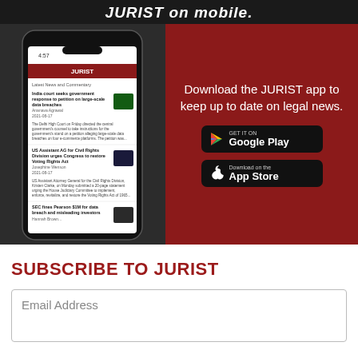JURIST on mobile.
[Figure (screenshot): Smartphone showing the JURIST app with news articles about India court data breaches, US Assistant AG Voting Rights Act, and SEC fines Pearson. Right side shows dark red background with download text and app store buttons.]
Download the JURIST app to keep up to date on legal news.
GET IT ON Google Play
Download on the App Store
SUBSCRIBE TO JURIST
Email Address